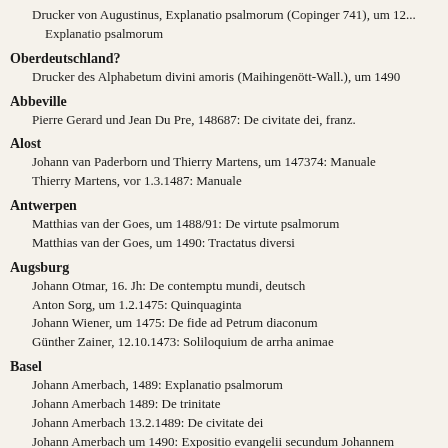Drucker von Augustinus, Explanatio psalmorum (Copinger 741), um 1... Explanatio psalmorum
Oberdeutschland?
Drucker des Alphabetum divini amoris (Maihingenött-Wall.), um 1490
Abbeville
Pierre Gerard und Jean Du Pre, 148687: De civitate dei, franz.
Alost
Johann van Paderborn und Thierry Martens, um 147374: Manuale
Thierry Martens, vor 1.3.1487: Manuale
Antwerpen
Matthias van der Goes, um 1488/91: De virtute psalmorum
Matthias van der Goes, um 1490: Tractatus diversi
Augsburg
Johann Otmar, 16. Jh: De contemptu mundi, deutsch
Anton Sorg, um 1.2.1475: Quinquaginta
Johann Wiener, um 1475: De fide ad Petrum diaconum
Günther Zainer, 12.10.1473: Soliloquium de arrha animae
Basel
Johann Amerbach, 1489: Explanatio psalmorum
Johann Amerbach 1489: De trinitate
Johann Amerbach 13.2.1489: De civitate dei
Johann Amerbach um 1490: Expositio evangelii secundum Johannem
Johann Amerbach, 1490: De trinitate
Johann Amerbach 13.2.1490: De civitate dei
Johann Amerbach nicht nach 9125: Expositio evangelii secundum...